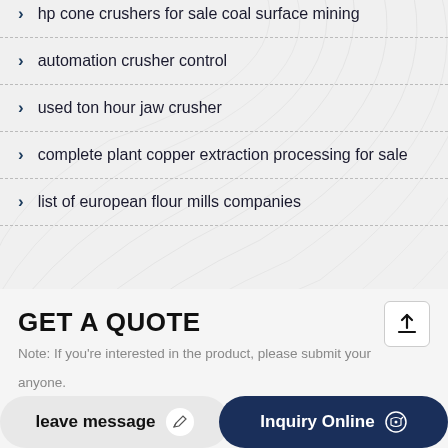hp cone crushers for sale coal surface mining
automation crusher control
used ton hour jaw crusher
complete plant copper extraction processing for sale
list of european flour mills companies
GET A QUOTE
Note: If you're interested in the product, please submit your
leave message
Inquiry Online
anyone.